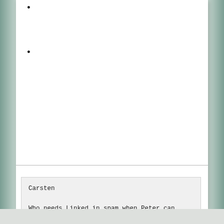•
•
Carsten

Who needs Linked in spam when Peter can reach us on ENUM ;-)

Christian